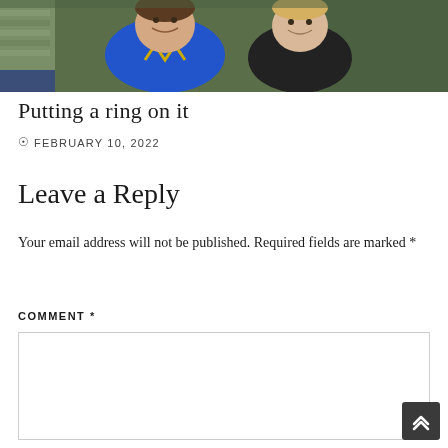[Figure (photo): A family photo showing two young children smiling, partially visible adult figures behind them. One child wears a blue shirt, the other a dark shirt.]
Putting a ring on it
© FEBRUARY 10, 2022
Leave a Reply
Your email address will not be published. Required fields are marked *
COMMENT *